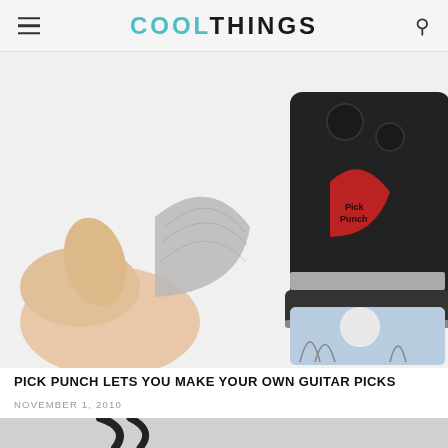COOLTHINGS
[Figure (photo): Photo of a Pick Punch guitar pick hole-punch device (black) next to a hand holding a grey marbled guitar pick, with a credit card showing a punched-out hole in the lower right.]
PICK PUNCH LETS YOU MAKE YOUR OWN GUITAR PICKS
NOVEMBER 1, 2010
[Figure (photo): Partial view of a dark object (bottom of page preview of next article image).]